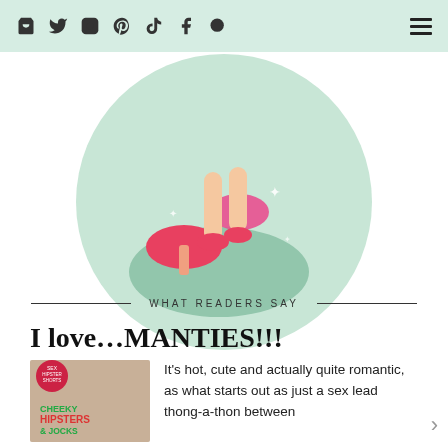Navigation bar with icons: shop, twitter, instagram, pinterest, tiktok, facebook, search, and hamburger menu
[Figure (illustration): Circular illustration with light green background showing cartoon fairy or character legs with pink mushrooms and sparkles]
WHAT READERS SAY
I love…MANTIES!!!
[Figure (photo): Book cover of 'Cheeky Hipsters & Jocks' with a shirtless male torso, green and red text]
It's hot, cute and actually quite romantic, as what starts out as just a sex lead thong-a-thon between